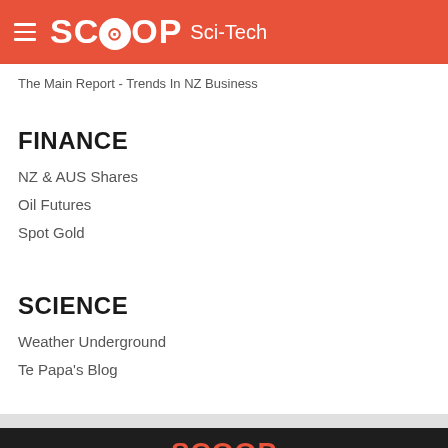SCOOP Sci-Tech
The Main Report - Trends In NZ Business
FINANCE
NZ & AUS Shares
Oil Futures
Spot Gold
SCIENCE
Weather Underground
Te Papa's Blog
SCOOP